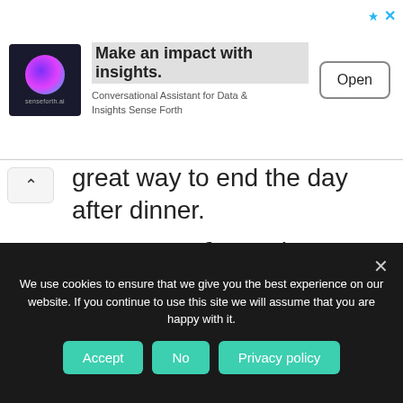[Figure (screenshot): Advertisement banner for Sense Forth AI — logo on left, headline 'Make an impact with insights.', subtext 'Conversational Assistant for Data & Insights Sense Forth', Open button on right, sponsored/close icons top right]
great way to end the day after dinner.
Be Sun Safe.  As the weather warms let's remember to use sunscreen and hats as we tend to do more activities outdoors.  Wear loose long-sleeved shirts and pants, a wide-brimmed hat, use a broad-spectrum sunscreen with at least SPF30, wear sunglasses that
We use cookies to ensure that we give you the best experience on our website. If you continue to use this site we will assume that you are happy with it.